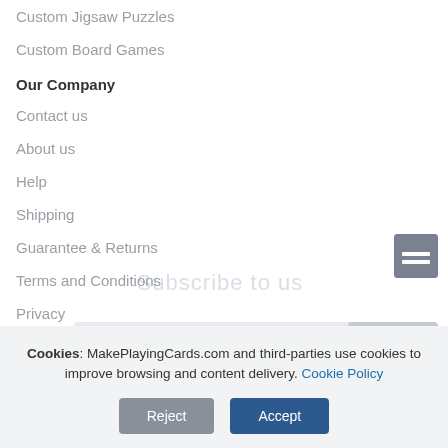Custom Jigsaw Puzzles
Custom Board Games
Our Company
Contact us
About us
Help
Shipping
Guarantee & Returns
Terms and Conditions
Privacy
Sitemap
Refer us
Cookies: MakePlayingCards.com and third-parties use cookies to improve browsing and content delivery. Cookie Policy
Reject | Accept